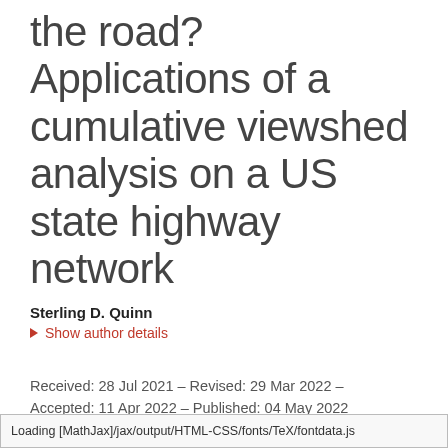the road? Applications of a cumulative viewshed analysis on a US state highway network
Sterling D. Quinn
Show author details
Received: 28 Jul 2021 – Revised: 29 Mar 2022 – Accepted: 11 Apr 2022 – Published: 04 May 2022
Loading [MathJax]/jax/output/HTML-CSS/fonts/TeX/fontdata.js